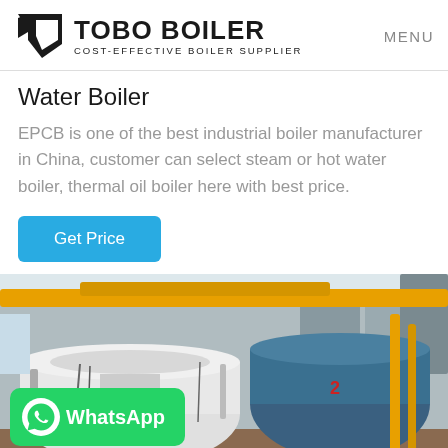TOBO BOILER COST-EFFECTIVE BOILER SUPPLIER | MENU
Water Boiler
EPCB is one of the best industrial boiler manufacturer in China, customer can select steam or hot water boiler, thermal oil boiler here with best price.
Get Price
[Figure (photo): Industrial boiler room with large cylindrical boilers in blue and white colors, yellow pipes overhead, and a WhatsApp contact button overlay in the lower left corner.]